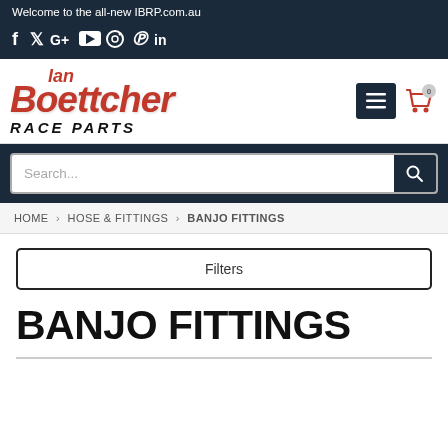Welcome to the all-new IBRP.com.au
[Figure (logo): Social media icons: Facebook, Twitter, Google+, YouTube, Instagram, Pinterest, LinkedIn]
[Figure (logo): Ian Boettcher Race Parts logo in red and black italic bold text, with menu button and cart icon on the right]
Search...
HOME › HOSE & FITTINGS › BANJO FITTINGS
Filters
BANJO FITTINGS